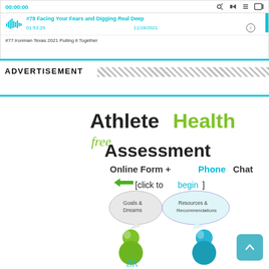[Figure (screenshot): Podcast player interface showing episode #78 Facing Your Fears and Digging Real Deep, time 01:53:29, date 11/19/2021, with waveform icon]
#77 Ironman Texas 2021 Pulling it Together
ADVERTISEMENT
[Figure (infographic): Athlete Health free Assessment advertisement - Online Form + Phone Chat, click to begin, with two figures (green and blue) with speech bubbles saying Goals & Dreams and Resources & Recommendations, BK logo at bottom]